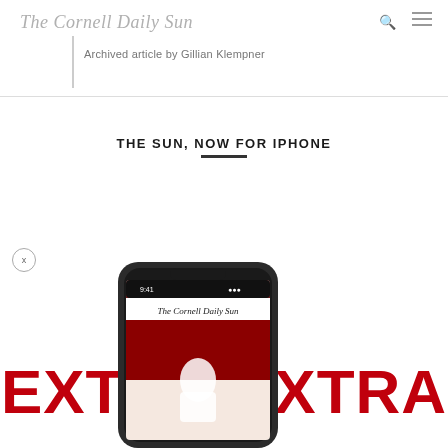The Cornell Daily Sun
Archived article by Gillian Klempner
THE SUN, NOW FOR IPHONE
[Figure (illustration): Large bold red text reading EXTRA EXTRA, followed by an image of an iPhone displaying The Cornell Daily Sun app]
[Figure (screenshot): iPhone mockup showing The Cornell Daily Sun app on screen]